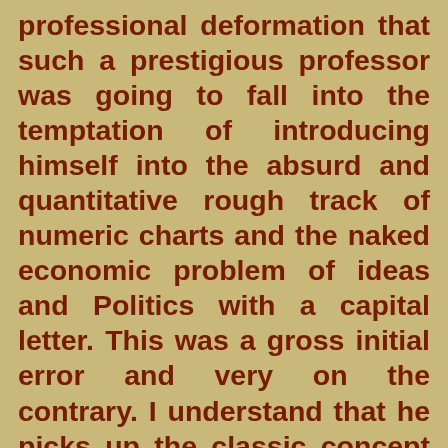professional deformation that such a prestigious professor was going to fall into the temptation of introducing himself into the absurd and quantitative rough track of numeric charts and the naked economic problem of ideas and Politics with a capital letter. This was a gross initial error and very on the contrary. I understand that he picks up the classic concept of Political Economy that the O-economy understood (moral or political) as the wise and legitimate government of the great family that